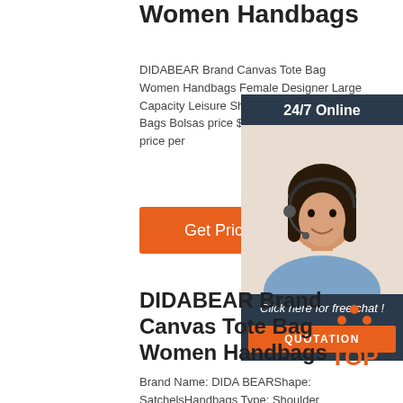Women Handbags
DIDABEAR Brand Canvas Tote Bag Women Handbags Female Designer Large Capacity Leisure Shoulder Bags Big Travel Bags Bolsas price $36.92 Sale price $29.7 price per
[Figure (other): Orange 'Get Price' button]
[Figure (other): 24/7 Online chat widget with customer service representative photo, 'Click here for free chat!' text, and orange QUOTATION button]
DIDABEAR Brand Canvas Tote Bag Women Handbags
[Figure (logo): Orange TOP logo with dots arranged in triangle pattern above the word TOP]
Brand Name: DIDA BEARShape: SatchelsHandbags Type: Shoulder